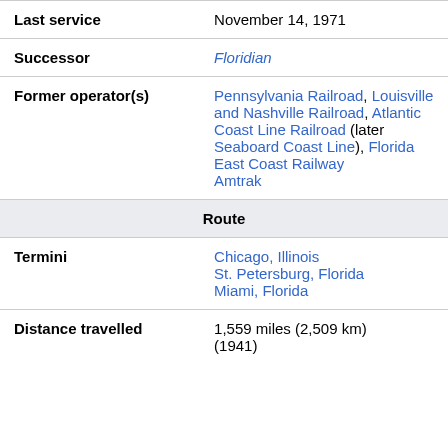| Last service | November 14, 1971 |
| Successor | Floridian |
| Former operator(s) | Pennsylvania Railroad, Louisville and Nashville Railroad, Atlantic Coast Line Railroad (later Seaboard Coast Line), Florida East Coast Railway
Amtrak |
| Route |  |
| Termini | Chicago, Illinois
St. Petersburg, Florida
Miami, Florida |
| Distance travelled | 1,559 miles (2,509 km) (1941) |